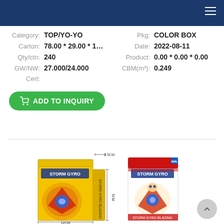Navigation header bar with hamburger menu
Category: TOP/YO-YO   Pkg: COLOR BOX
Carton: 78.00 * 29.00 * 1...   Date: 2022-08-11
Qty/ctn: 240   Product: 0.00 * 0.00 * 0.00
GW/NW: 27.000/24.000   CBM(m³): 0.249
Cert:
ADD TO INQUIRY
[Figure (photo): Two Storm Gyro spinning top toy product boxes shown from front and side angles, with dimension annotations: 12CM width, 13CM height, 8.5CM depth, 5CM side]